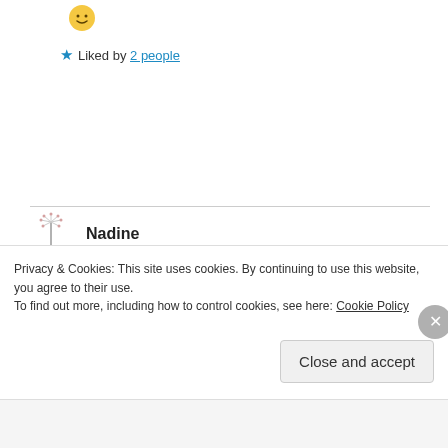[Figure (illustration): Small yellow smiley face emoji]
★ Liked by 2 people
Nadine
May 30, 2020 at 12:15 am

The part about the door, and the clocks… wow. The entire poem is mind-bending, the ambiance is everlastingly finite…
Privacy & Cookies: This site uses cookies. By continuing to use this website, you agree to their use.
To find out more, including how to control cookies, see here: Cookie Policy
Close and accept